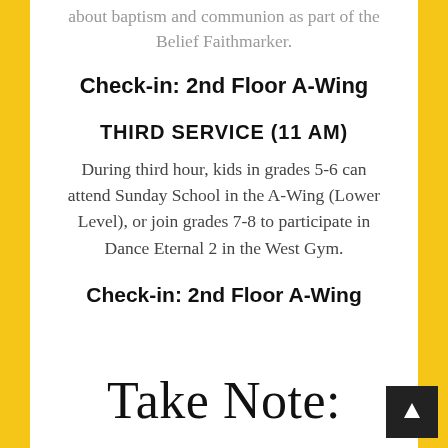about baptism and communion as part of the Belief Faithmarker.
Check-in: 2nd Floor A-Wing
THIRD SERVICE (11 AM)
During third hour, kids in grades 5-6 can attend Sunday School in the A-Wing (Lower Level), or join grades 7-8 to participate in Dance Eternal 2 in the West Gym.
Check-in: 2nd Floor A-Wing
Take Note: